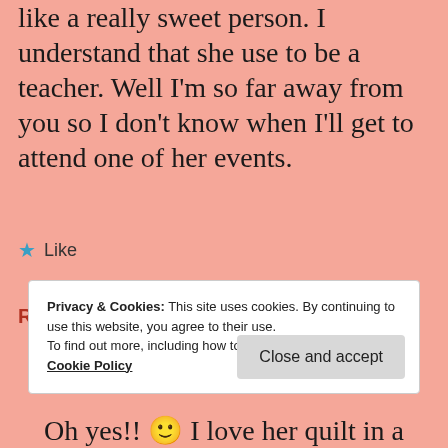like a really sweet person. I understand that she use to be a teacher. Well I'm so far away from you so I don't know when I'll get to attend one of her events.
★ Like
REPLY
Privacy & Cookies: This site uses cookies. By continuing to use this website, you agree to their use. To find out more, including how to control cookies, see here: Cookie Policy
Close and accept
Oh yes!! 🙂 I love her quilt in a